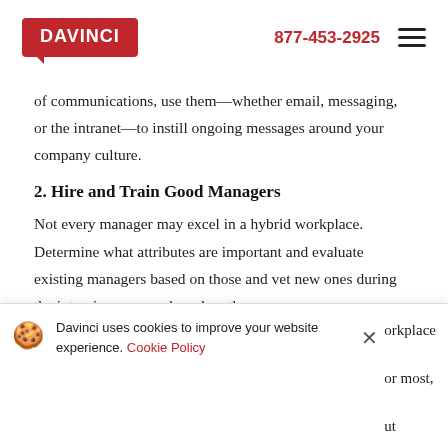DAVINCI | 877-453-2925
of communications, use them—whether email, messaging, or the intranet—to instill ongoing messages around your company culture.
2. Hire and Train Good Managers
Not every manager may excel in a hybrid workplace. Determine what attributes are important and evaluate existing managers based on those and vet new ones during the interview process based on those.
Davinci uses cookies to improve your website experience. Cookie Policy